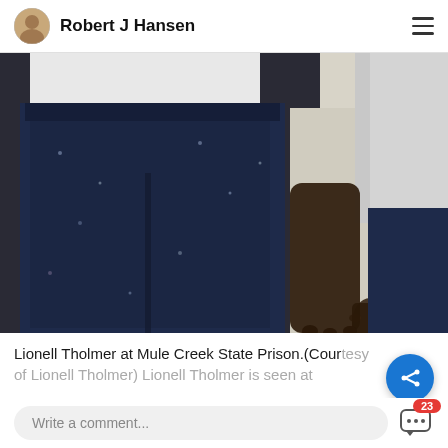Robert J Hansen
[Figure (photo): Close-up photo of a person wearing dark navy/blue sweatpants and a white shirt, with another person partially visible on the right side wearing a grey shirt and blue pants. The setting appears to be indoors with a beige/white wall.]
Lionell Tholmer at Mule Creek State Prison.(Courtesy of Lionell Tholmer) Lionell Tholmer is seen at
Write a comment...